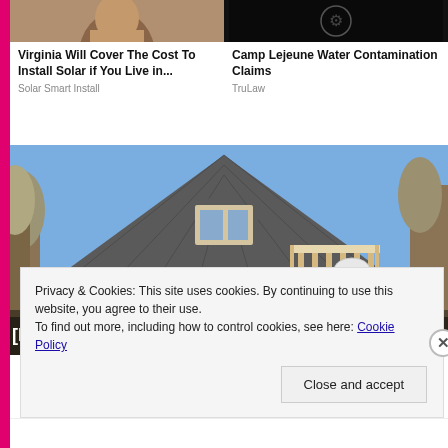[Figure (photo): Partial photo of a person's face at top left]
[Figure (photo): Dark photo with symbol/emblem at top right]
Virginia Will Cover The Cost To Install Solar if You Live in...
Solar Smart Install
Camp Lejeune Water Contamination Claims
TruLaw
[Figure (photo): Photo of a tiny wood A-frame house with steep shingled roof and balcony, surrounded by bare trees]
[Pics] This Tiny Wood House Is 290
Privacy & Cookies: This site uses cookies. By continuing to use this website, you agree to their use.
To find out more, including how to control cookies, see here: Cookie Policy
Close and accept